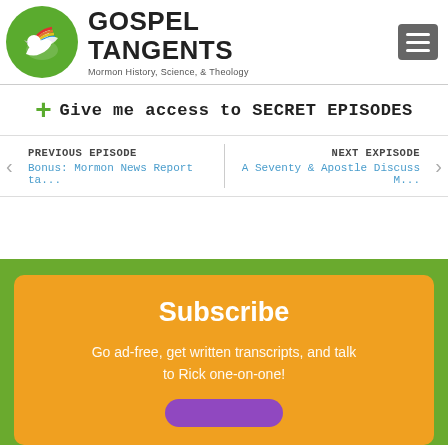[Figure (logo): Gospel Tangents logo: green circle with white bird/dove SVG, beside bold text GOSPEL TANGENTS with subtitle Mormon History, Science, & Theology]
+ Give me access to SECRET EPISODES
PREVIOUS EPISODE
Bonus: Mormon News Report ta...
NEXT EXPISODE
A Seventy & Apostle Discuss M...
Subscribe
Go ad-free, get written transcripts, and talk to Rick one-on-one!